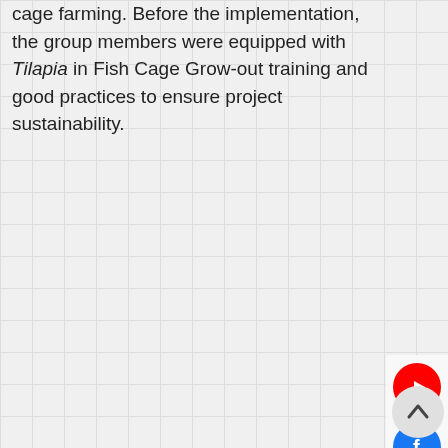cage farming. Before the implementation, the group members were equipped with Tilapia in Fish Cage Grow-out training and good practices to ensure project sustainability.
[Figure (other): Social media sidebar showing YouTube, Facebook, and Facebook Messenger icon buttons, and a back-to-top arrow button]